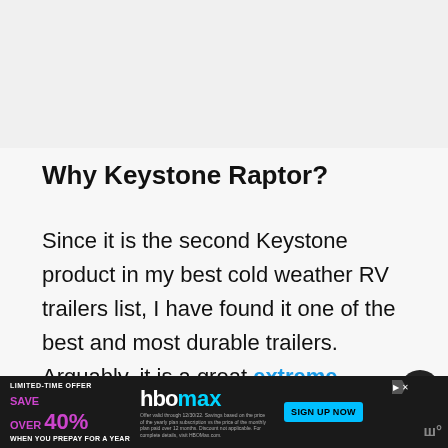[Figure (photo): Image placeholder at the top of the article, light gray background]
Why Keystone Raptor?
Since it is the second Keystone product in my best cold weather RV trailers list, I have found it one of the best and most durable trailers. Arguably, it is a great extreme weather condition RV trailer for people with up to eight fa... ro... ose
[Figure (other): HBO Max limited-time offer advertisement banner: Save over 40% when you prepay for a year. Sign up now.]